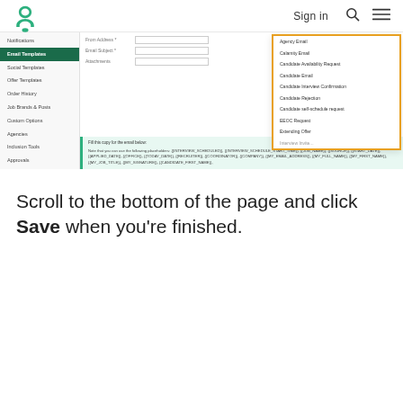Sign in
[Figure (screenshot): A UI screenshot showing a settings panel with a left sidebar containing navigation items (Notifications, Email Templates highlighted, Social Templates, Offer Templates, Order History, Job Brands & Posts, Custom Options, Agencies, Inclusion Tools, Approvals). The main area shows a dropdown menu with an orange border listing email template types: Agency Email, Calamity Email, Candidate Availability Request, Candidate Email, Candidate Interview Confirmation, Candidate Rejection, Candidate self-schedule request, EEOC Request, Extending Offer, etc. Below is a green-tinted info box with placeholder text instructions.]
Scroll to the bottom of the page and click Save when you're finished.